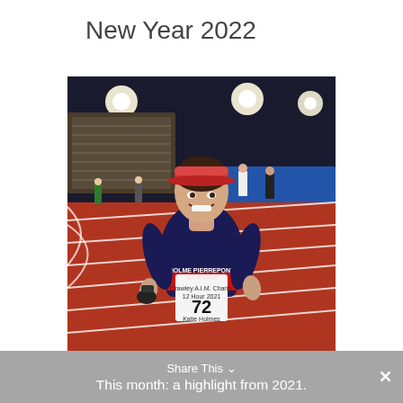New Year 2022
[Figure (photo): A woman wearing a red and blue running kit with race number 72 labeled 'Katie Holmes', a red visor cap, standing on a red athletics track at night with stadium lights and grandstand visible in the background. The race bib reads 'Crawley A.I.M. Charity 12 Hour 2021'.]
Share This
This month: a highlight from 2021.